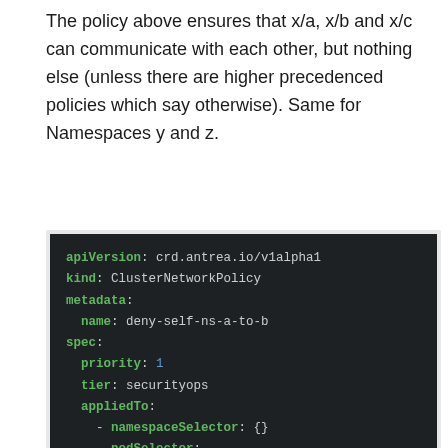The policy above ensures that x/a, x/b and x/c can communicate with each other, but nothing else (unless there are higher precedenced policies which say otherwise). Same for Namespaces y and z.
[Figure (screenshot): Code block showing YAML for a ClusterNetworkPolicy named deny-self-ns-a-to-b with apiVersion crd.antrea.io/v1alpha1, spec with priority 1, tier securityops, appliedTo with namespaceSelector and podSelector matchLabels app: b, and ingress with action: Deny]